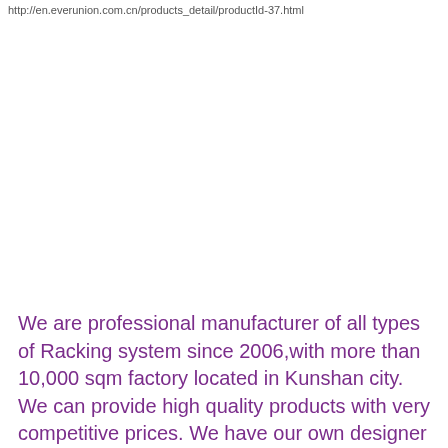http://en.everunion.com.cn/products_detail/productId-37.html
We are professional manufacturer of all types of Racking system since 2006,with more than 10,000 sqm factory located in Kunshan city. We can provide high quality products with very competitive prices. We have our own designer team,we can freely provide the CAD drawing for your reference according to your warehouse